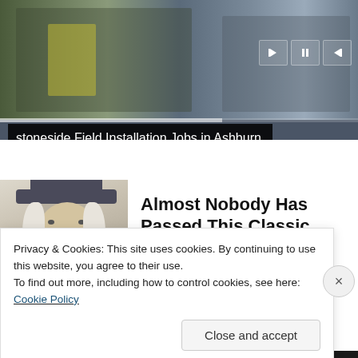[Figure (screenshot): Top video/ad banner showing construction workers in yellow vests with media playback controls and a progress bar]
stoneside Field Installation Jobs in Ashburn
Apply Now
[Figure (illustration): Illustration of a colonial/Quaker-style figure (white wig, dark hat) resembling the Quaker Oats mascot]
Almost Nobody Has Passed This Classic Logo Quiz
WarpedSpeed
Privacy & Cookies: This site uses cookies. By continuing to use this website, you agree to their use.
To find out more, including how to control cookies, see here: Cookie Policy
Close and accept